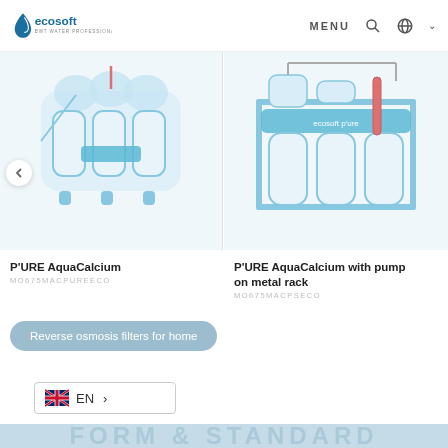Ecosoft BWT Water Professionals — MENU
[Figure (photo): Water filter product photo: P'URE AquaCalcium, compact under-sink reverse osmosis unit with blue accents, transparent housing]
P'URE AquaCalcium
MO675MACPUREECO
[Figure (photo): Water filter product photo: P'URE AquaCalcium with pump on metal rack, three-stage filter columns with blue header on metal stand]
P'URE AquaCalcium with pump on metal rack
MO675MACPSECO
Reverse osmosis filters for home
EN >